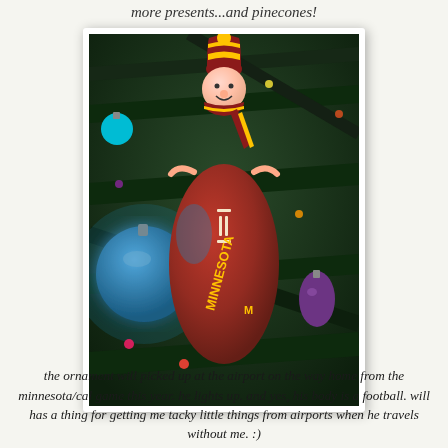more presents...and pinecones!
[Figure (photo): A Minnesota Gophers football-shaped Christmas ornament with a cartoon character wearing maroon and gold striped hat and scarf, hanging on a Christmas tree with teal and purple ornaments and colored lights visible in the background. The ornament's body reads 'MINNESOTA' and it lights up.]
the ornament will picked up at the airport on the way home from the minnesota/cal game this year. he lights up. and yes, his body is a football. will has a thing for getting me tacky little things from airports when he travels without me. :)